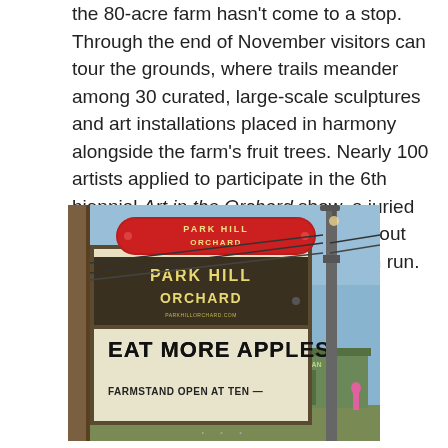the 80-acre farm hasn't come to a stop. Through the end of November visitors can tour the grounds, where trails meander among 30 curated, large-scale sculptures and art installations placed in harmony alongside the farm's fruit trees. Nearly 100 artists applied to participate in the 6th biennial Art in the Orchard show, a juried event which is expected to attract about 25k visitors by the end of its 4-month run.
[Figure (photo): Photo of Park Hill Orchard sign. A large wooden sign reads 'Park Hill Orchard' with a red oval pill-shaped sign at the top and changeable letter board below reading 'EAT MORE APPLES' and 'FARMSTAND OPEN AT TEN'. A utility pole with wires is visible to the right, with a building and trees in the background under a blue sky.]